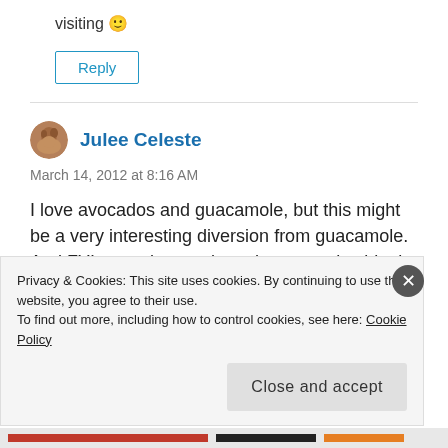visiting 🙂
Reply
Julee Celeste
March 14, 2012 at 8:16 AM
I love avocados and guacamole, but this might be a very interesting diversion from guacamole. And FYI, a study was done that proved acids do NOT
Privacy & Cookies: This site uses cookies. By continuing to use this website, you agree to their use.
To find out more, including how to control cookies, see here: Cookie Policy
Close and accept